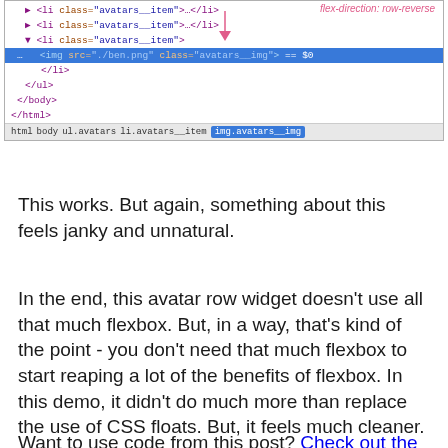[Figure (screenshot): Browser DevTools HTML panel showing DOM tree with li.avatars__item elements and img.avatars__img selected (highlighted in blue). A pink annotation reads 'flex-direction: row-reverse' with a downward arrow. The breadcrumb bar shows: html body ul.avatars li.avatars__item img.avatars__img]
This works. But again, something about this feels janky and unnatural.
In the end, this avatar row widget doesn't use all that much flexbox. But, in a way, that's kind of the point - you don't need that much flexbox to start reaping a lot of the benefits of flexbox. In this demo, it didn't do much more than replace the use of CSS floats. But, it feels much cleaner.
Want to use code from this post? Check out the